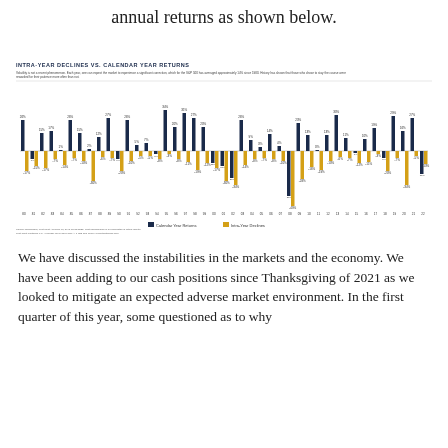annual returns as shown below.
[Figure (grouped-bar-chart): Bar chart showing calendar year returns (dark navy bars, positive) and intra-year declines (gold/orange bars, negative) for the S&P 500 from 1980 to 2022. Most years show positive calendar year returns despite significant intra-year declines averaging approximately 14%.]
We have discussed the instabilities in the markets and the economy. We have been adding to our cash positions since Thanksgiving of 2021 as we looked to mitigate an expected adverse market environment. In the first quarter of this year, some questioned as to why